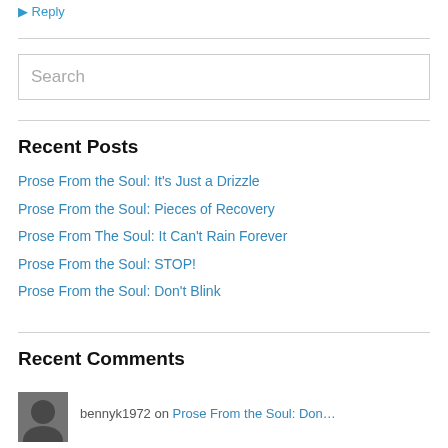↳ Reply
Recent Posts
Prose From the Soul: It's Just a Drizzle
Prose From the Soul: Pieces of Recovery
Prose From The Soul: It Can't Rain Forever
Prose From the Soul: STOP!
Prose From the Soul: Don't Blink
Recent Comments
bennyk1972 on Prose From the Soul: Don…